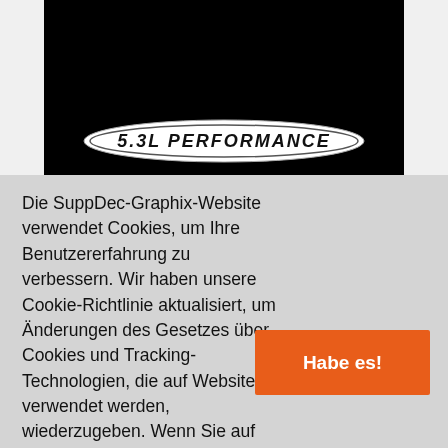[Figure (photo): Dark/black background with a chrome badge reading '5.3L PERFORMANCE' in stylized italic lettering on a white elliptical emblem]
Die SuppDec-Graphix-Website verwendet Cookies, um Ihre Benutzererfahrung zu verbessern. Wir haben unsere Cookie-Richtlinie aktualisiert, um Änderungen des Gesetzes über Cookies und Tracking-Technologien, die auf Websites verwendet werden, wiederzugeben. Wenn Sie auf dieser Website fortfahren, bieten Sie Ihre Zustimmung unserer Verwendung von Cookies an.
Habe es!